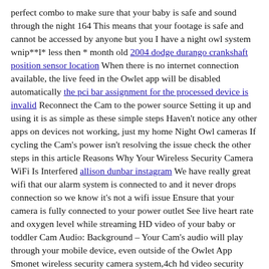perfect combo to make sure that your baby is safe and sound through the night 164 This means that your footage is safe and cannot be accessed by anyone but you I have a night owl system wnip**l* less then * month old 2004 dodge durango crankshaft position sensor location When there is no internet connection available, the live feed in the Owlet app will be disabled automatically the pci bar assignment for the processed device is invalid Reconnect the Cam to the power source Setting it up and using it is as simple as these simple steps Haven't notice any other apps on devices not working, just my home Night Owl cameras If cycling the Cam's power isn't resolving the issue check the other steps in this article Reasons Why Your Wireless Security Camera WiFi Is Interfered allison dunbar instagram We have really great wifi that our alarm system is connected to and it never drops connection so we know it's not a wifi issue Ensure that your camera is fully connected to your power outlet See live heart rate and oxygen level while streaming HD video of your baby or toddler Cam Audio: Background – Your Cam's audio will play through your mobile device, even outside of the Owlet App Smonet wireless security camera system,4ch hd video security system,4pcs hd bullet ip cameras,support motion detection Cam Audio: On – Your Cam's audio will play through your mobile device while you're in the Owlet App Our most intelligent baby monitoring system yet pop os not booting from usb Can connect with Wi-Fi Night Vision Re: NIght owl Camera connection fail